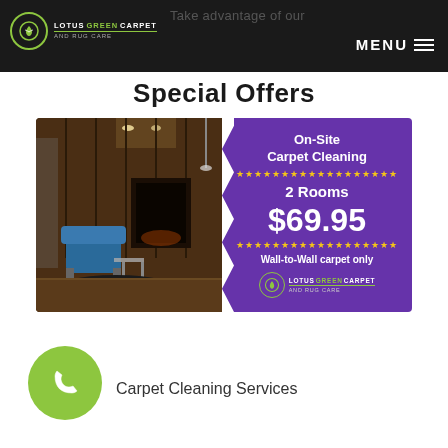Take advantage of our Special Offers
[Figure (photo): Promotional banner for Lotus Green Carpet and Rug Care showing a modern living room on the left and purple promotional panel on the right with text: On-Site Carpet Cleaning, 2 Rooms, $69.95, Wall-to-Wall carpet only]
Carpet Cleaning Services